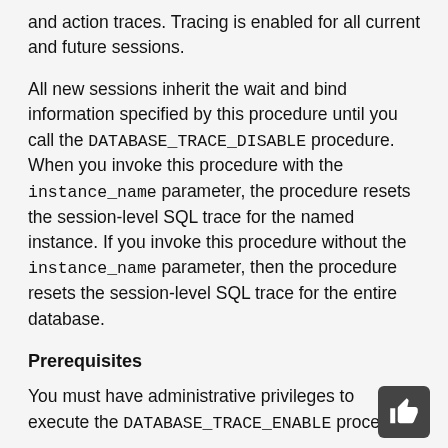and action traces. Tracing is enabled for all current and future sessions.
All new sessions inherit the wait and bind information specified by this procedure until you call the DATABASE_TRACE_DISABLE procedure. When you invoke this procedure with the instance_name parameter, the procedure resets the session-level SQL trace for the named instance. If you invoke this procedure without the instance_name parameter, then the procedure resets the session-level SQL trace for the entire database.
Prerequisites
You must have administrative privileges to execute the DATABASE_TRACE_ENABLE procedure.
Assumptions